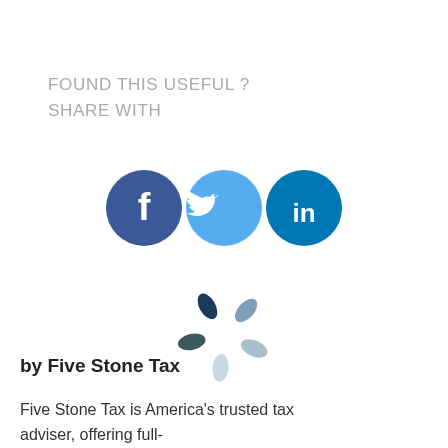FOUND THIS USEFUL ? SHARE WITH
[Figure (logo): Three social media icons: Facebook (dark blue circle with white 'f'), Twitter (light blue circle with white bird), LinkedIn (blue circle with white 'in')]
[Figure (logo): Five Stone Tax logo: circular arrangement of teardrop/petal shapes in varying shades of navy, dark teal, slate, and light grey-blue]
by Five Stone Tax
Five Stone Tax is America's trusted tax adviser, offering full-